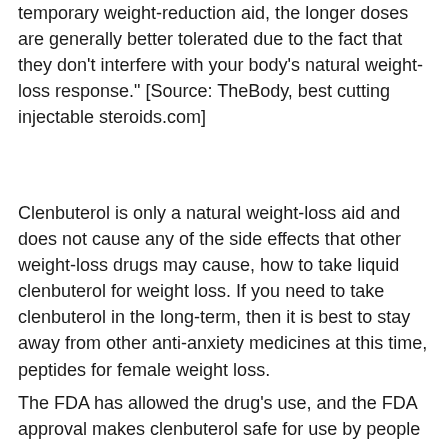temporary weight-reduction aid, the longer doses are generally better tolerated due to the fact that they don't interfere with your body's natural weight-loss response." [Source: TheBody, best cutting injectable steroids.com]
Clenbuterol is only a natural weight-loss aid and does not cause any of the side effects that other weight-loss drugs may cause, how to take liquid clenbuterol for weight loss. If you need to take clenbuterol in the long-term, then it is best to stay away from other anti-anxiety medicines at this time, peptides for female weight loss.
The FDA has allowed the drug's use, and the FDA approval makes clenbuterol safe for use by people taking a prescription anti-anxiety medication.